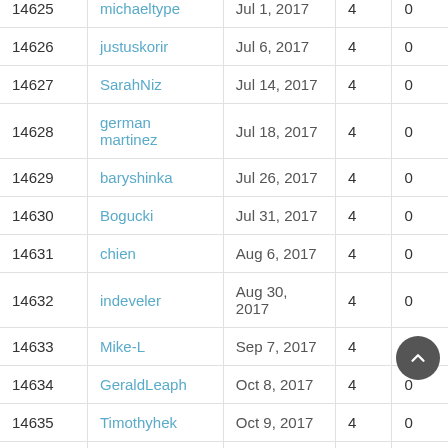| ID | Username | Date | Col4 | Col5 |
| --- | --- | --- | --- | --- |
| 14625 | michaeltype | Jul 1, 2017 | 4 | 0 |
| 14626 | justuskorir | Jul 6, 2017 | 4 | 0 |
| 14627 | SarahNiz | Jul 14, 2017 | 4 | 0 |
| 14628 | german martinez | Jul 18, 2017 | 4 | 0 |
| 14629 | baryshinka | Jul 26, 2017 | 4 | 0 |
| 14630 | Bogucki | Jul 31, 2017 | 4 | 0 |
| 14631 | chien | Aug 6, 2017 | 4 | 0 |
| 14632 | indeveler | Aug 30, 2017 | 4 | 0 |
| 14633 | Mike-L | Sep 7, 2017 | 4 | 0 |
| 14634 | GeraldLeaph | Oct 8, 2017 | 4 | 0 |
| 14635 | Timothyhek | Oct 9, 2017 | 4 | 0 |